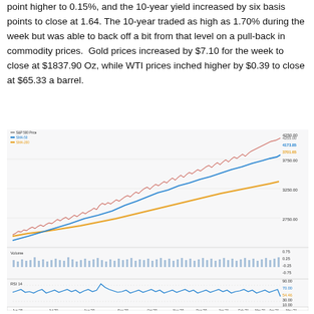point higher to 0.15%, and the 10-year yield increased by six basis points to close at 1.64. The 10-year traded as high as 1.70% during the week but was able to back off a bit from that level on a pull-back in commodity prices.  Gold prices increased by $7.10 for the week to close at $1837.90 Oz, while WTI prices inched higher by $0.39 to close at $65.33 a barrel.
[Figure (continuous-plot): S&P 500 price chart with SMA-50 (blue) and SMA-200 (orange) moving averages from Jun '20 to May '21, with Volume panel and RSI 14 panel below. Price reaches ~4255 at top right, SMA-50 at 4173.85, SMA-200 at 3701.65. RSI 14 ends at 54.46.]